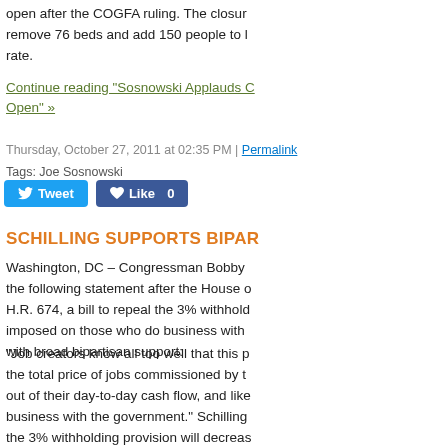open after the COGFA ruling. The closure would remove 76 beds and add 150 people to local unemployment rate.
Continue reading "Sosnowski Applauds COGFA Ruling, Kept Open" »
Thursday, October 27, 2011 at 02:35 PM | Permalink
Tags: Joe Sosnowski
SCHILLING SUPPORTS BIPAR...
Washington, DC – Congressman Bobby ... the following statement after the House of H.R. 674, a bill to repeal the 3% withholding imposed on those who do business with with broad bipartisan support:
"Job creators know all too well that this p... the total price of jobs commissioned by t... out of their day-to-day cash flow, and like... business with the government." Schilling the 3% withholding provision will decreas... they simply cannot afford to be government